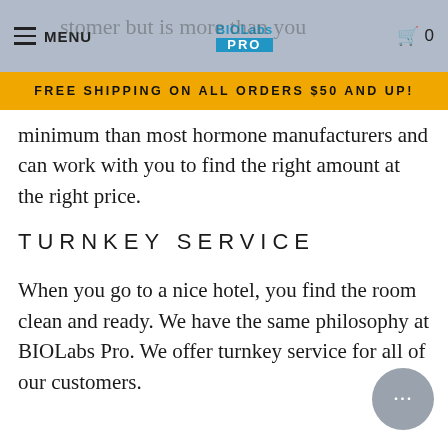MENU | BIOLabs PRO | Cart 0
FREE SHIPPING ON ALL ORDERS $50 AND UP!
minimum than most hormone manufacturers and can work with you to find the right amount at the right price.
TURNKEY SERVICE
When you go to a nice hotel, you find the room clean and ready. We have the same philosophy at BIOLabs Pro. We offer turnkey service for all of our customers.